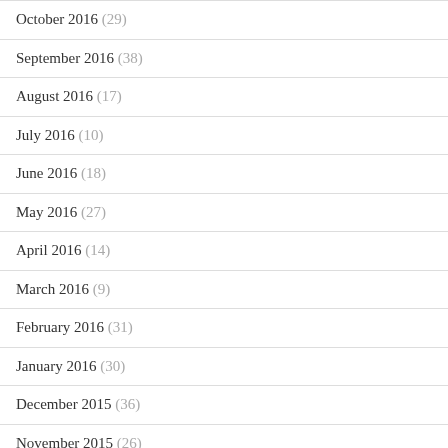October 2016 (29)
September 2016 (38)
August 2016 (17)
July 2016 (10)
June 2016 (18)
May 2016 (27)
April 2016 (14)
March 2016 (9)
February 2016 (31)
January 2016 (30)
December 2015 (36)
November 2015 (26)
October 2015 (20)